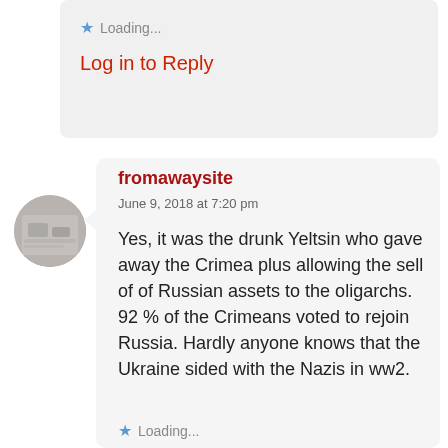Loading...
Log in to Reply
fromawaysite
June 9, 2018 at 7:20 pm
Yes, it was the drunk Yeltsin who gave away the Crimea plus allowing the sell of of Russian assets to the oligarchs. 92 % of the Crimeans voted to rejoin Russia. Hardly anyone knows that the Ukraine sided with the Nazis in ww2.
Loading...